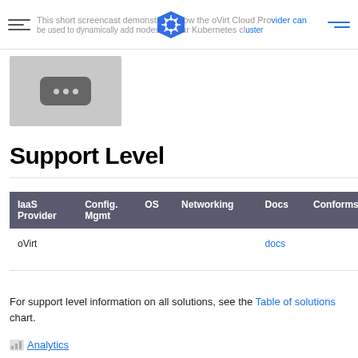This short screencast demonstrates how the oVirt Cloud Provider can be used to dynamically add nodes to your Kubernetes cluster
[Figure (screenshot): Video thumbnail placeholder with dark rounded rectangle containing three dots, on light gray background]
Support Level
| IaaS Provider | Config. Mgmt | OS | Networking | Docs | Conforms | Support Level |
| --- | --- | --- | --- | --- | --- | --- |
| oVirt |  |  |  | docs |  | Community (@simo |
For support level information on all solutions, see the Table of solutions chart.
Analytics